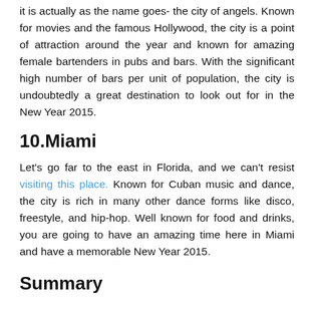it is actually as the name goes- the city of angels. Known for movies and the famous Hollywood, the city is a point of attraction around the year and known for amazing female bartenders in pubs and bars. With the significant high number of bars per unit of population, the city is undoubtedly a great destination to look out for in the New Year 2015.
10.Miami
Let’s go far to the east in Florida, and we can’t resist visiting this place. Known for Cuban music and dance, the city is rich in many other dance forms like disco, freestyle, and hip-hop. Well known for food and drinks, you are going to have an amazing time here in Miami and have a memorable New Year 2015.
Summary